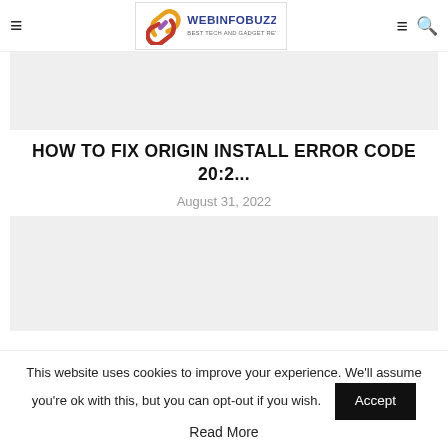WEBINFOBUZZ — BEST TECH AND GADGET REVIEWS
[Figure (other): Gray placeholder image at the top of the article card]
HOW TO FIX ORIGIN INSTALL ERROR CODE 20:2...
August 31, 2022
[Figure (other): Gray placeholder image below the article title]
This website uses cookies to improve your experience. We'll assume you're ok with this, but you can opt-out if you wish.
Accept
Read More